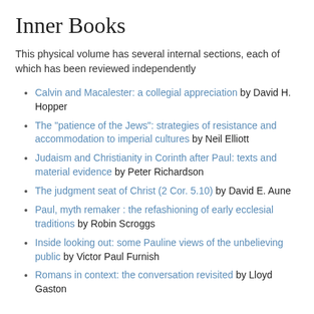Inner Books
This physical volume has several internal sections, each of which has been reviewed independently
Calvin and Macalester: a collegial appreciation by David H. Hopper
The "patience of the Jews": strategies of resistance and accommodation to imperial cultures by Neil Elliott
Judaism and Christianity in Corinth after Paul: texts and material evidence by Peter Richardson
The judgment seat of Christ (2 Cor. 5.10) by David E. Aune
Paul, myth remaker : the refashioning of early ecclesial traditions by Robin Scroggs
Inside looking out: some Pauline views of the unbelieving public by Victor Paul Furnish
Romans in context: the conversation revisited by Lloyd Gaston